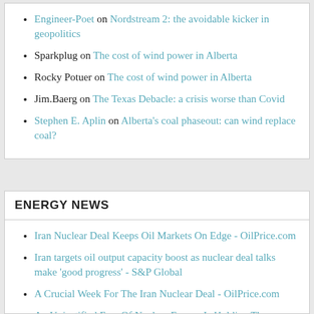Engineer-Poet on Nordstream 2: the avoidable kicker in geopolitics
Sparkplug on The cost of wind power in Alberta
Rocky Potuer on The cost of wind power in Alberta
Jim.Baerg on The Texas Debacle: a crisis worse than Covid
Stephen E. Aplin on Alberta's coal phaseout: can wind replace coal?
ENERGY NEWS
Iran Nuclear Deal Keeps Oil Markets On Edge - OilPrice.com
Iran targets oil output capacity boost as nuclear deal talks make 'good progress' - S&P Global
A Crucial Week For The Iran Nuclear Deal - OilPrice.com
An Unjustified Fear Of Nuclear Energy Is Holding The Industry Back - OilPrice.com